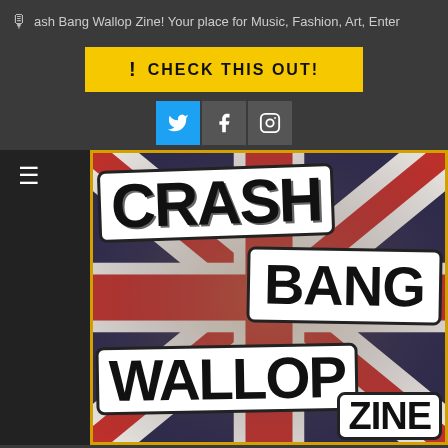ash Bang Wallop Zine! Your place for Music, Fashion, Art, Enter
CHECK THIS OUT!
[Figure (logo): Crash Bang Wallop Zine logo on Union Jack flag background with large block text reading CRASH, BANG, WALLOP, ZINE]
CRASH BANG WALLOP ZINE